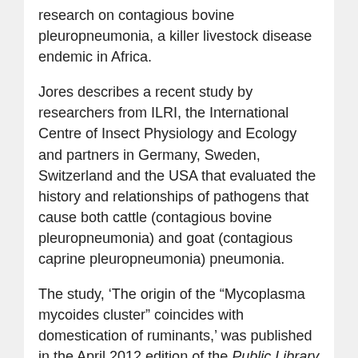research on contagious bovine pleuropneumonia, a killer livestock disease endemic in Africa.
Jores describes a recent study by researchers from ILRI, the International Centre of Insect Physiology and Ecology and partners in Germany, Sweden, Switzerland and the USA that evaluated the history and relationships of pathogens that cause both cattle (contagious bovine pleuropneumonia) and goat (contagious caprine pleuropneumonia) pneumonia.
The study, ‘The origin of the “Mycoplasma mycoides cluster” coincides with domestication of ruminants,’ was published in the April 2012 edition of the Public Library of Science (PLoS, 27 Apr 2012). The researchers found that the bacterium Mycoplasma mycoides, which causes contagious bovine pleuropneumonia, arose at the same time as humans first started to domesticate wild ruminants.
The onset of domestication of livestock about 10,000